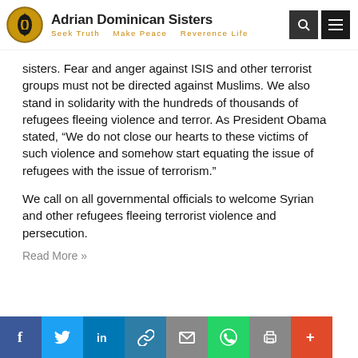Adrian Dominican Sisters — Seek Truth   Make Peace   Reverence Life
sisters. Fear and anger against ISIS and other terrorist groups must not be directed against Muslims. We also stand in solidarity with the hundreds of thousands of refugees fleeing violence and terror. As President Obama stated, “We do not close our hearts to these victims of such violence and somehow start equating the issue of refugees with the issue of terrorism.”
We call on all governmental officials to welcome Syrian and other refugees fleeing terrorist violence and persecution.
Read More »
[Figure (infographic): Social media sharing buttons: Facebook, Twitter, LinkedIn, Link/copy, Email, WhatsApp, Print, More (+)]